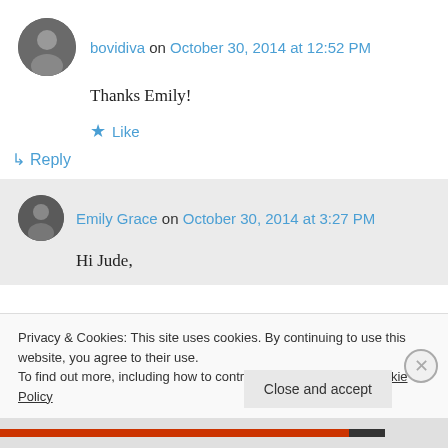bovidiva on October 30, 2014 at 12:52 PM
Thanks Emily!
★ Like
↳ Reply
Emily Grace on October 30, 2014 at 3:27 PM
Hi Jude,
Privacy & Cookies: This site uses cookies. By continuing to use this website, you agree to their use. To find out more, including how to control cookies, see here: Cookie Policy
Close and accept